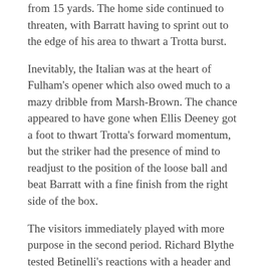from 15 yards. The home side continued to threaten, with Barratt having to sprint out to the edge of his area to thwart a Trotta burst.
Inevitably, the Italian was at the heart of Fulham's opener which also owed much to a mazy dribble from Marsh-Brown. The chance appeared to have gone when Ellis Deeney got a foot to thwart Trotta's forward momentum, but the striker had the presence of mind to readjust to the position of the loose ball and beat Barratt with a fine finish from the right side of the box.
The visitors immediately played with more purpose in the second period. Richard Blythe tested Betinelli's reactions with a header and then the young goalkeeper did brilliantly to prevent Poysner from levelling mattters with an instinctive block. Having seemed to have recovered their composure, it was disappointing to see Fulham concede a rather sloppy goal.